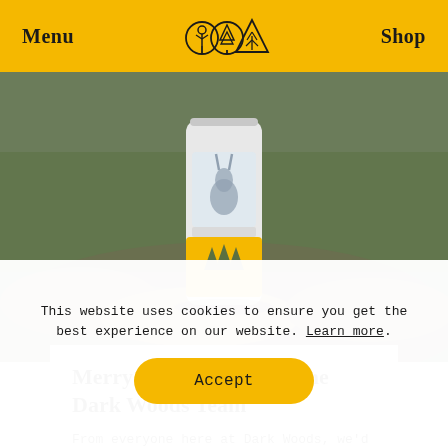Menu | [logo] | Shop
[Figure (photo): A can of Dark Woods coffee product sitting on rocks in an outdoor landscape setting. The can is labeled with a hare illustration and gold/yellow Christmas tree design elements.]
Merry Christmas From the Dark Woods Team
From everyone here at Dark Woods, we’d like to wish you all a safe and enjoyable Christmas and New Year, and we’ll see you again in 2022!
This website uses cookies to ensure you get the best experience on our website. Learn more.